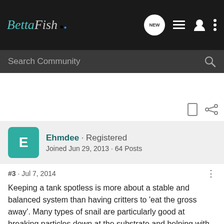BettaFish · NEW
Search Community
Ehmdee · Registered
Joined Jun 29, 2013 · 64 Posts
#3 · Jul 7, 2014
Keeping a tank spotless is more about a stable and balanced system than having critters to 'eat the gross away'. Many types of snail are particularly good at breaking particles down at the substrate and helping with tank stability, and those with a trapdoor have a better defense against betta attack.